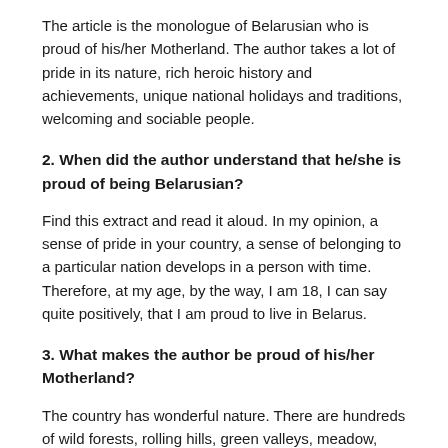The article is the monologue of Belarusian who is proud of his/her Motherland. The author takes a lot of pride in its nature, rich heroic history and achievements, unique national holidays and traditions, welcoming and sociable people.
2. When did the author understand that he/she is proud of being Belarusian?
Find this extract and read it aloud. In my opinion, a sense of pride in your country, a sense of belonging to a particular nation develops in a person with time. Therefore, at my age, by the way, I am 18, I can say quite positively, that I am proud to live in Belarus.
3. What makes the author be proud of his/her Motherland?
The country has wonderful nature. There are hundreds of wild forests, rolling hills, green valleys, meadow, golden fields, dear lakes, rivers and European bison in